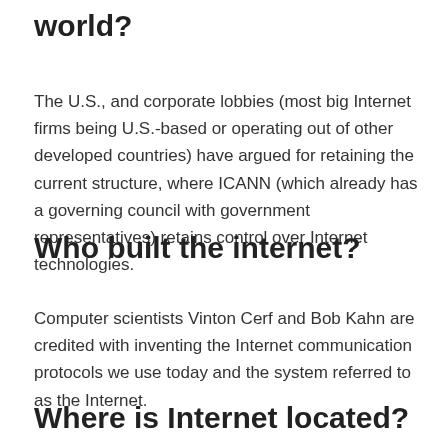world?
The U.S., and corporate lobbies (most big Internet firms being U.S.-based or operating out of other developed countries) have argued for retaining the current structure, where ICANN (which already has a governing council with government representatives) retains control over Internet technologies.
Who built the internet?
Computer scientists Vinton Cerf and Bob Kahn are credited with inventing the Internet communication protocols we use today and the system referred to as the Internet.
Where is Internet located?